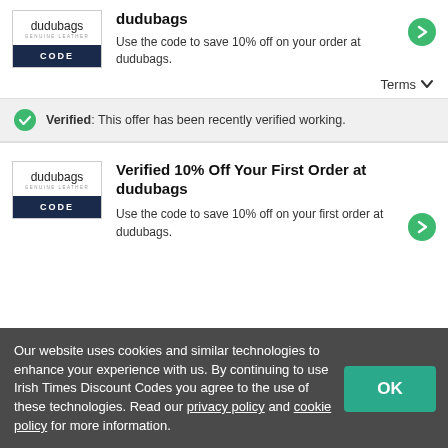[Figure (logo): dudubags GENUINE LEATHER logo with CODE button]
dudubags
Use the code to save 10% off on your order at dudubags.
Terms
Verified: This offer has been recently verified working.
[Figure (logo): dudubags GENUINE LEATHER logo with CODE button]
Verified 10% Off Your First Order at dudubags
Use the code to save 10% off on your first order at dudubags.
Our website uses cookies and similar technologies to enhance your experience with us. By continuing to use Irish Times Discount Codes you agree to the use of these technologies. Read our privacy policy and cookie policy for more information.